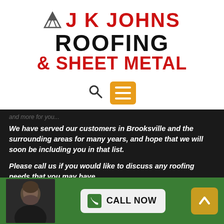[Figure (logo): JK Johns Roofing & Sheet Metal logo with triangular icon, red and black bold text]
[Figure (screenshot): Navigation bar with search icon and orange hamburger menu button]
We have served our customers in Brooksville and the surrounding areas for many years, and hope that we will soon be including you in that list.
Please call us if you would like to discuss any roofing needs that you may have.
QUICK NAVIGATION
[Figure (photo): Photo of a bearded man in dark section, partially visible]
CALL NOW
[Figure (infographic): Green footer bar with call now button and up arrow button]